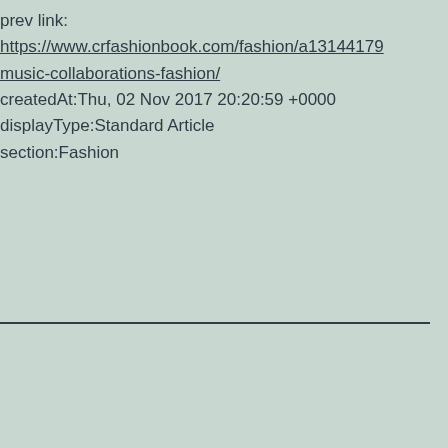prev link:
https://www.crfashionbook.com/fashion/a13144179/music-collaborations-fashion/
createdAt:Thu, 02 Nov 2017 20:20:59 +0000
displayType:Standard Article
section:Fashion